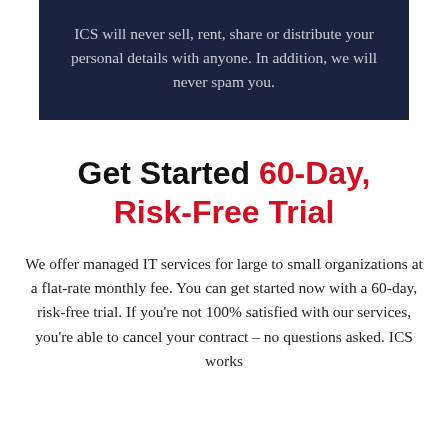ICS will never sell, rent, share or distribute your personal details with anyone. In addition, we will never spam you.
Get Started 60-Day, Risk-Free Trial
We offer managed IT services for large to small organizations at a flat-rate monthly fee. You can get started now with a 60-day, risk-free trial. If you're not 100% satisfied with our services, you're able to cancel your contract – no questions asked. ICS works